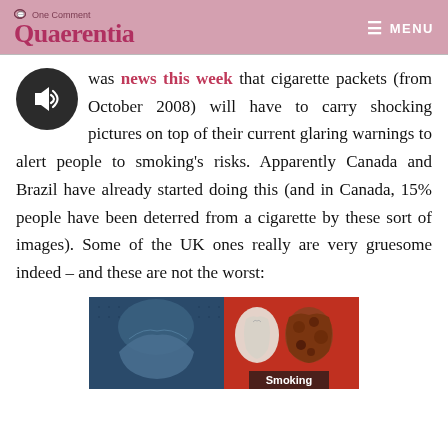One Comment / Quaerentia / MENU
was news this week that cigarette packets (from October 2008) will have to carry shocking pictures on top of their current glaring warnings to alert people to smoking's risks. Apparently Canada and Brazil have already started doing this (and in Canada, 15% people have been deterred from a cigarette by these sort of images). Some of the UK ones really are very gruesome indeed – and these are not the worst:
[Figure (photo): Two-panel image showing smoking health warning pictures: left panel shows a body bag or wrapped figure under blue lighting, right panel shows a comparison of healthy lungs vs. diseased/cancerous lungs on a red background, with the word 'Smoking' visible at the bottom]